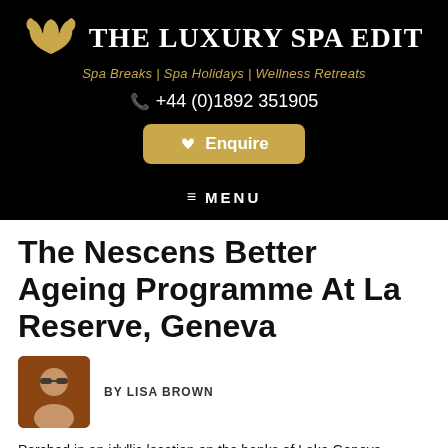THE LUXURY SPA EDIT — Spa Breaks | Spa Holidays | Wellness Retreats
+44 (0)1892 351905
Enquire
MENU
The Nescens Better Ageing Programme At La Reserve, Geneva
BY LISA BROWN
Perched in an idyllic location on the banks of Lake Geneva